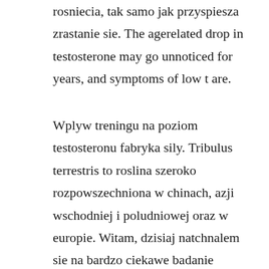rosniecia, tak samo jak przyspiesza zrastanie sie. The agerelated drop in testosterone may go unnoticed for years, and symptoms of low t are.
Wplyw treningu na poziom testosteronu fabryka sily. Tribulus terrestris to roslina szeroko rozpowszechniona w chinach, azji wschodniej i poludniowej oraz w europie. Witam, dzisiaj natchnalem sie na bardzo ciekawe badanie odnosnie poziomu testosteronu po stosowaniu 3mg cynku na kazdy kilogram masy ciala. Comprar testosteronu...